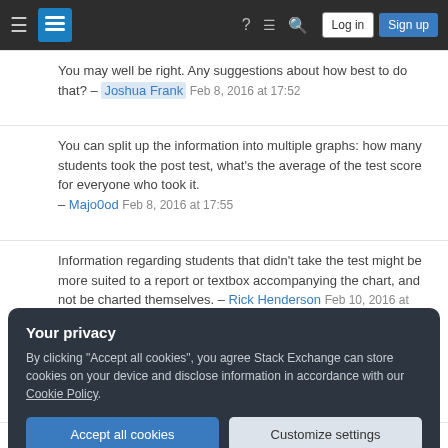Stack Exchange navigation bar with hamburger menu, logo, help, chat, search icons, Log in and Sign up buttons
You may well be right. Any suggestions about how best to do that? – Joshua Frank  Feb 8, 2016 at 17:52
You can split up the information into multiple graphs: how many students took the post test, what's the average of the test score for everyone who took it. – Majo0od  Feb 8, 2016 at 17:55
Information regarding students that didn't take the test might be more suited to a report or textbox accompanying the chart, and not be charted themselves. – Rick Henderson  Feb 10, 2016 at 15:35
Your privacy
By clicking "Accept all cookies", you agree Stack Exchange can store cookies on your device and disclose information in accordance with our Cookie Policy.
Accept all cookies   Customize settings
within one simple chart. I would suggest something